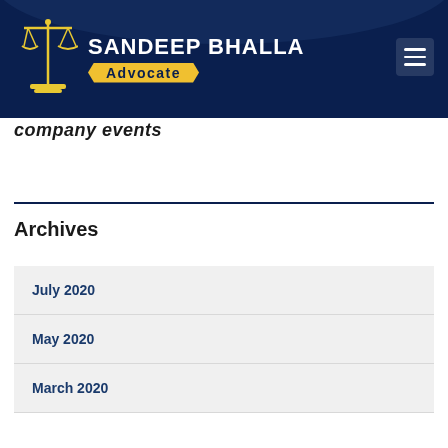[Figure (logo): Sandeep Bhalla Advocate logo with scales of justice icon on dark navy background header]
company events
Archives
July 2020
May 2020
March 2020